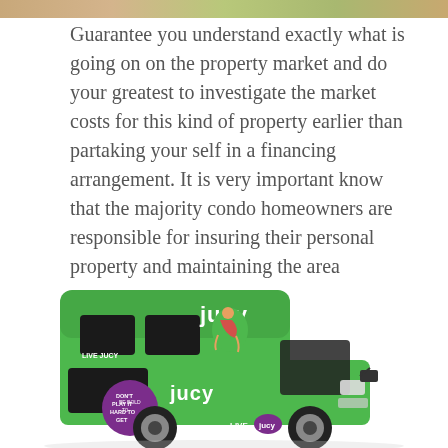[Figure (photo): Partial image of food/property at top of page, cropped strip]
Guarantee you understand exactly what is going on on the property market and do your greatest to investigate the market costs for this kind of property earlier than partaking your self in a financing arrangement. It is very important know that the majority condo homeowners are responsible for insuring their personal property and maintaining the area contained in the condo, but the HOA fee will cover a master insurance coverage for the building.
[Figure (photo): Green Jucy branded camper van / RV with logo and promotional text on the side]